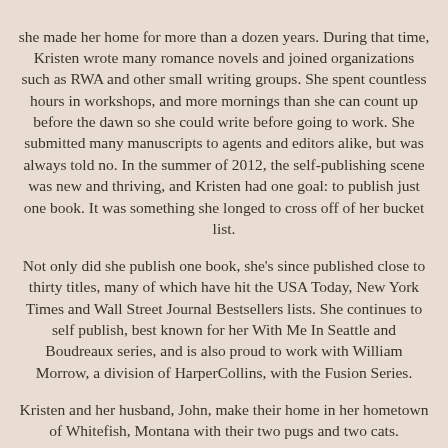she made her home for more than a dozen years. During that time, Kristen wrote many romance novels and joined organizations such as RWA and other small writing groups. She spent countless hours in workshops, and more mornings than she can count up before the dawn so she could write before going to work. She submitted many manuscripts to agents and editors alike, but was always told no. In the summer of 2012, the self-publishing scene was new and thriving, and Kristen had one goal: to publish just one book. It was something she longed to cross off of her bucket list.

Not only did she publish one book, she's since published close to thirty titles, many of which have hit the USA Today, New York Times and Wall Street Journal Bestsellers lists. She continues to self publish, best known for her With Me In Seattle and Boudreaux series, and is also proud to work with William Morrow, a division of HarperCollins, with the Fusion Series.

Kristen and her husband, John, make their home in her hometown of Whitefish, Montana with their two pugs and two cats.